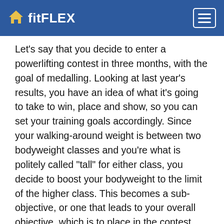fitFLEX
Let's say that you decide to enter a powerlifting contest in three months, with the goal of medalling. Looking at last year's results, you have an idea of what it's going to take to win, place and show, so you can set your training goals accordingly. Since your walking-around weight is between two bodyweight classes and you're what is politely called "tall" for either class, you decide to boost your bodyweight to the limit of the higher class. This becomes a sub-objective, or one that leads to your overall objective, which is to place in the contest, and serves as the basis for your training. If you prefer, consider this weight-gaining effort to be the first phase of your overall three-month program.
Continuing toward your goal, you shop the market and